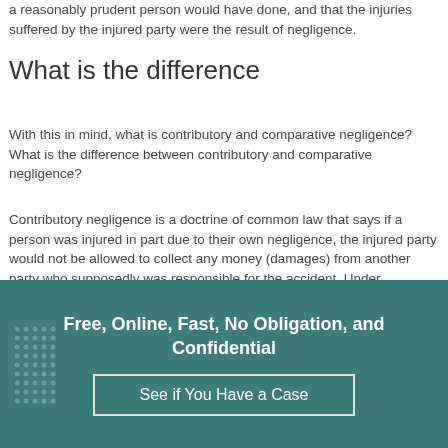a reasonably prudent person would have done, and that the injuries suffered by the injured party were the result of negligence.
What is the difference
With this in mind, what is contributory and comparative negligence? What is the difference between contributory and comparative negligence?
Contributory negligence is a doctrine of common law that says if a person was injured in part due to their own negligence, the injured party would not be allowed to collect any money (damages) from another party who supposedly was responsible for the accident. Under contributory negligence, a person who may have been
Free, Online, Fast, No Obligation, and Confidential
See if You Have a Case